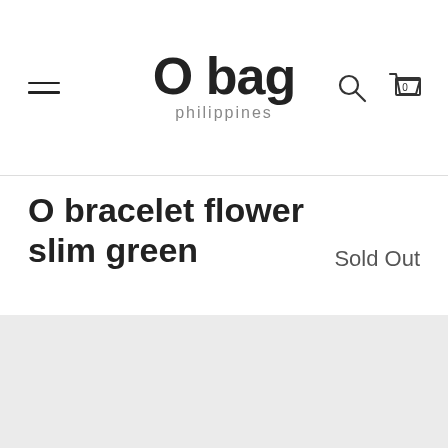O bag philippines
O bracelet flower slim green
Sold Out
[Figure (other): Light grey placeholder image area for product photo]